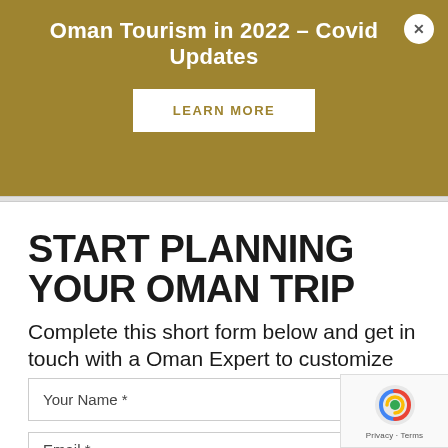Oman Tourism in 2022 – Covid Updates
LEARN MORE
START PLANNING YOUR OMAN TRIP
Complete this short form below and get in touch with a Oman Expert to customize YOUR tour:
Your Name *
Email *